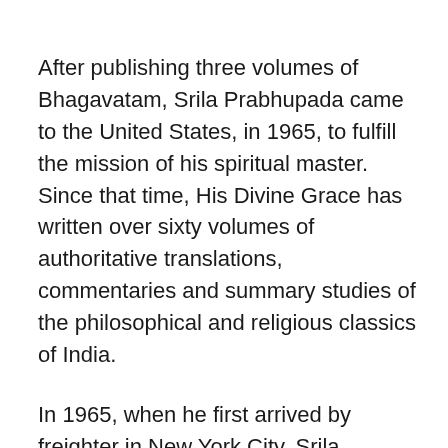After publishing three volumes of Bhagavatam, Srila Prabhupada came to the United States, in 1965, to fulfill the mission of his spiritual master. Since that time, His Divine Grace has written over sixty volumes of authoritative translations, commentaries and summary studies of the philosophical and religious classics of India.
In 1965, when he first arrived by freighter in New York City, Srila Prabhupada was practically penniless. It was after almost a year of great difficulty that he established the International Society for Krishna Consciousness in July of 1966. Under his careful guidance, the Society has grew within a decade to a worldwide confederation of almost one hundred asramas, schools, temples, institutes and